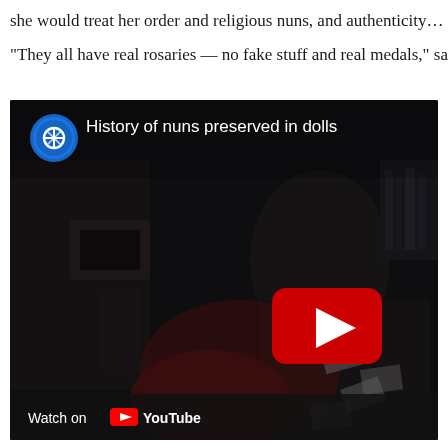she would treat her order and religious nuns, and authenticity…
“They all have real rosaries — no fake stuff and real medals,” sa
[Figure (screenshot): Embedded YouTube video thumbnail showing 'History of nuns preserved in dolls' with a dark background image of a person in a room, YouTube play button overlay, channel icon, and Watch on YouTube bar at the bottom.]